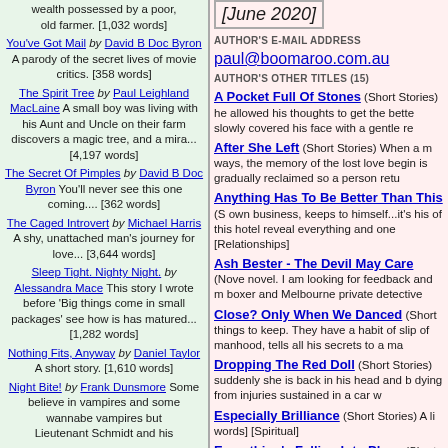wealth possessed by a poor, old farmer. [1,032 words]
You've Got Mail by David B Doc Byron A parody of the secret lives of movie critics. [358 words]
The Spirit Tree by Paul Leighland MacLaine A small boy was living with his Aunt and Uncle on their farm discovers a magic tree, and a mira... [4,197 words]
The Secret Of Pimples by David B Doc Byron You'll never see this one coming.... [362 words]
The Caged Introvert by Michael Harris A shy, unattached man's journey for love... [3,644 words]
Sleep Tight. Nighty Night. by Alessandra Mace This story I wrote before 'Big things come in small packages' see how is has matured... [1,282 words]
Nothing Fits, Anyway by Daniel Taylor A short story. [1,610 words]
Night Bite! by Frank Dunsmore Some believe in vampires and some wannabe vampires but Lieutenant Schmidt and his
[June 2020]
AUTHOR'S E-MAIL ADDRESS
paul@boomaroo.com.au
AUTHOR'S OTHER TITLES (15)
A Pocket Full Of Stones (Short Stories) he allowed his thoughts to get the better slowly covered his face with a gentle re
After She Left (Short Stories) When a man ways, the memory of the lost love begins is gradually reclaimed so a person retu
Anything Has To Be Better Than This (S own business, keeps to himself...it's his of this hotel reveal everything and one [Relationships]
Ash Bester - The Devil May Care (Nove novel. I am looking for feedback and m boxer and Melbourne private detective
Close? Only When We Danced (Short things to keep. They have a habit of slip of manhood, tells all his secrets to a ma
Dropping The Red Doll (Short Stories) suddenly she is back in his head and b dying from injuries sustained in a car w
Especially Brilliance (Short Stories) A li words] [Spiritual]
Everything's Falling Into Place (Short S from a balcony, the man realises the o relationship. [946 words] [Relationships]